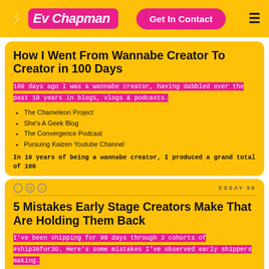Ev Chapman — Get In Contact
How I Went From Wannabe Creator To Creator in 100 Days
100 days ago I was a wannabe creator, having dabbled over the past 10 years in blogs, vlogs & podcasts.
The Chameleon Project
She's A Geek Blog
The Convergence Podcast
Pursuing Kaizen Youtube Channel
In 10 years of being a wannabe creator, I produced a grand total of 100
ESSAY 99
5 Mistakes Early Stage Creators Make That Are Holding Them Back
I've been shipping for 99 days through 3 cohorts of #ship30for30. Here's some mistakes I've observed early shippers making.
Not shipping. Letting that voice in your head tell you it's not good enough, not well thought out, needs to be researched more.
Not trusting the process. I see a load of questions every cohort about